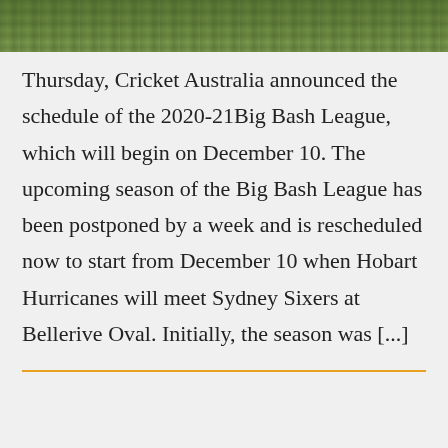[Figure (photo): Partial photo of grass/field, cropped at top of page]
Thursday, Cricket Australia announced the schedule of the 2020-21Big Bash League, which will begin on December 10. The upcoming season of the Big Bash League has been postponed by a week and is rescheduled now to start from December 10 when Hobart Hurricanes will meet Sydney Sixers at Bellerive Oval. Initially, the season was [...]